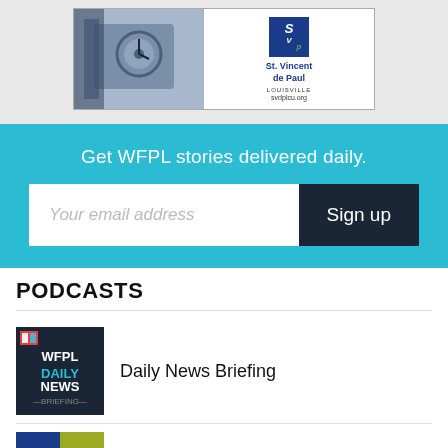[Figure (logo): St. Vincent de Paul Louisville advertisement with a vintage clock photo on the left and the SVDP logo with text 'St. Vincent de Paul LOUISVILLE svdplcu.org' on the right]
Get WFPL stories delivered daily.
Your email address
Sign up
PODCASTS
Daily News Briefing
[Figure (logo): WFPL Daily News Briefing podcast thumbnail — dark background with WFPL logo and text 'WFPL DAILY NEWS BRIEFING']